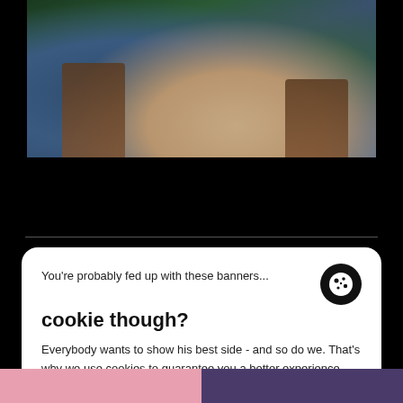[Figure (photo): Photo of a person in a blue outfit sitting in a wooden chair with plants in the background, cropped to show torso and hands]
You're probably fed up with these banners...
cookie though?
Everybody wants to show his best side - and so do we. That's why we use cookies to guarantee you a better experience.
Customize ∨
Decline
Accept all